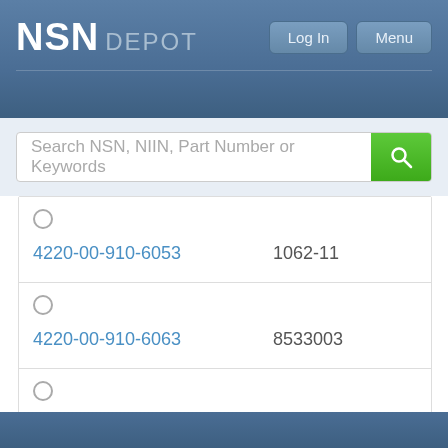NSN DEPOT
Search NSN, NIIN, Part Number or Keywords
| NSN | Part Number |
| --- | --- |
| 4220-00-910-6053 | 1062-11 |
| 4220-00-910-6063 | 8533003 |
| 4220-00-912-6668 | 446668 |